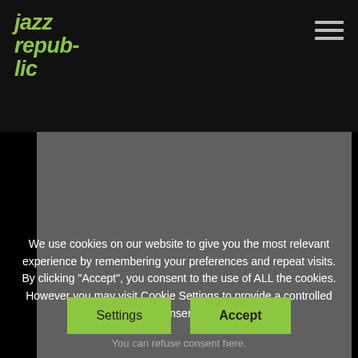[Figure (logo): Jazz republic logo in green italic bold text on black header bar with hamburger menu icon top right]
[Figure (photo): Dark gray image area below header]
We use cookies on our website to give you the most relevant experience by remembering your preferences and repeat visits. By clicking "Accept", you consent to the use of ALL the cookies. However you may visit Cookie Settings to provide a controlled consent.
Settings
Accept
You can refuse consent here.